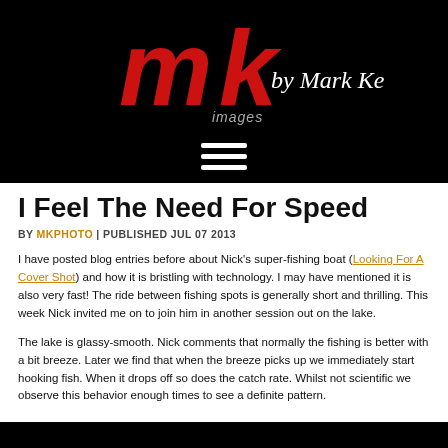[Figure (logo): MK Images by Mark Kelly logo — red stylized 'mk' letters with 'images' text and 'by Mark Kelly' in white script, on black background]
[Figure (other): Hamburger menu icon — three horizontal white lines on black background]
I Feel The Need For Speed
BY MKPHOTO | PUBLISHED JUL 07 2013
I have posted blog entries before about Nick's super-fishing boat (Looking For A Cover Shot) and how it is bristling with technology. I may have mentioned it is also very fast! The ride between fishing spots is generally short and thrilling. This week Nick invited me on to join him in another session out on the lake.
The lake is glassy-smooth. Nick comments that normally the fishing is better with a bit breeze. Later we find that when the breeze picks up we immediately start hooking fish. When it drops off so does the catch rate. Whilst not scientific we observe this behavior enough times to see a definite pattern.